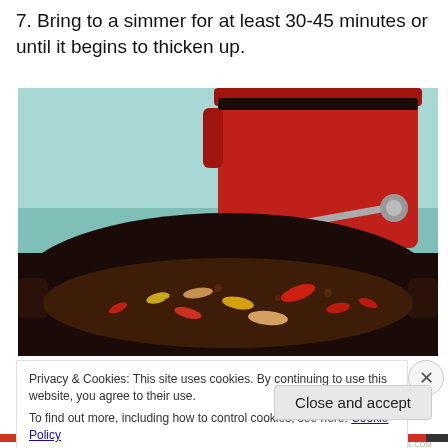7. Bring to a simmer for at least 30-45 minutes or until it begins to thicken up.
[Figure (photo): A cast iron skillet filled with a dark simmering sauce with colorful vegetables (red and yellow peppers, onions), with a red enameled pot and tongs visible in the background on a blue countertop.]
Privacy & Cookies: This site uses cookies. By continuing to use this website, you agree to their use.
To find out more, including how to control cookies, see here: Cookie Policy